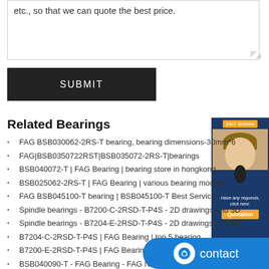etc., so that we can quote the best price.
SUBMIT
Related Bearings
FAG BSB030062-2RS-T bearing, bearing dimensions-30mm*6
FAG|BSB0350722RST|BSB035072-2RS-T|bearings
BSB040072-T | FAG Bearing | bearing store in hongkong
BSB025062-2RS-T | FAG Bearing | various bearing models
FAG BSB045100-T bearing | BSB045100-T Best Service
Spindle bearings - B7200-C-2RSD-T-P4S - 2D drawings and 3D
Spindle bearings - B7204-E-2RSD-T-P4S - 2D drawings and 3D
B7204-C-2RSD-T-P4S | FAG Bearing | top 5 bearing
B7200-E-2RSD-T-P4S | FAG Bearing | bearings you need
BSB040090-T - FAG Bearing - FAG Newest - TUN Bearing
B7203-E-2RSD-T-P4S | FAG Bearing | bearing market
《B7208-E-2RSD-T-P4S》_FAG B7208-E-2RSD-T-P4
China B7204-C-T-P4S Bearing Manufacturer - Pric
FAG B7206-E-2RSD-T-P4S Super Precision Angular contact
[Figure (photo): Customer service agent widget with 24/7 Online badge and Quotation button]
[Figure (infographic): Contact button overlay in blue]